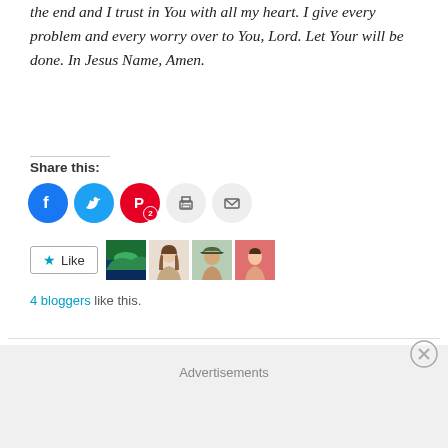the end and I trust in You with all my heart. I give every problem and every worry over to You, Lord. Let Your will be done. In Jesus Name, Amen.
Share this:
[Figure (infographic): Social share buttons: Facebook (blue circle), Twitter (blue circle), Pinterest (red circle with badge '2'), Print (grey circle), Email (grey circle)]
[Figure (infographic): Like button with star icon and 4 blogger avatar thumbnails]
4 bloggers like this.
Advertisements